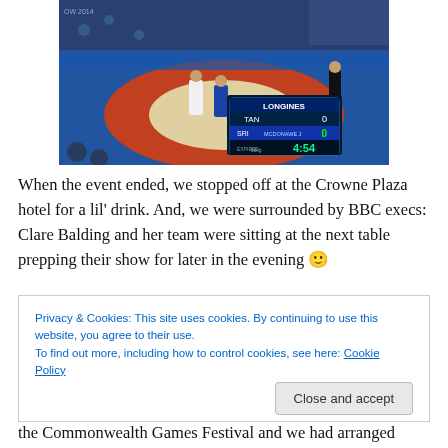[Figure (photo): A judo match at a sports arena (Commonwealth Games 2014). A Longines scoreboard shows TAN vs SRI with score 0-0 and time 4:54, -98kg category. Two athletes in judogi on a tatami mat with referees and audience in background.]
When the event ended, we stopped off at the Crowne Plaza hotel for a lil' drink. And, we were surrounded by BBC execs: Clare Balding and her team were sitting at the next table prepping their show for later in the evening 🙂
Privacy & Cookies: This site uses cookies. By continuing to use this website, you agree to their use.
To find out more, including how to control cookies, see here: Cookie Policy
[Close and accept]
the Commonwealth Games Festival and we had arranged